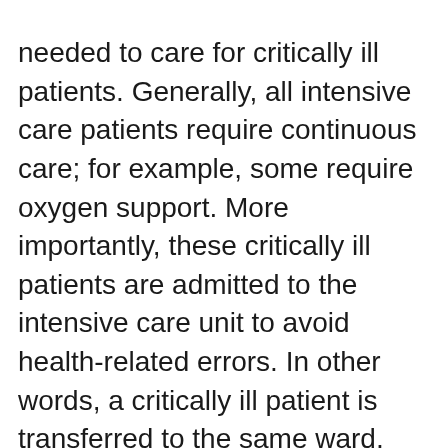needed to care for critically ill patients. Generally, all intensive care patients require continuous care; for example, some require oxygen support. More importantly, these critically ill patients are admitted to the intensive care unit to avoid health-related errors. In other words, a critically ill patient is transferred to the same ward, which is much more restrictive than other wards.
When urgent care cannot be provided due to lack of resources, triage is used. A team of specialists